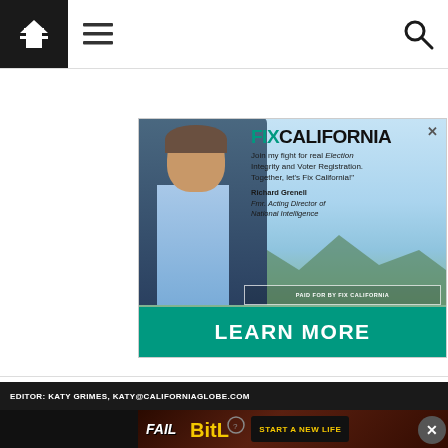Navigation bar with home, menu, and search icons
[Figure (advertisement): Fix California political ad featuring Richard Grenell, Fmr. Acting Director of National Intelligence. Text: FIXCALIFORNIA - Join my fight for real Election Integrity and Voter Registration. Together, let's Fix California! - Richard Grenell, Fmr. Acting Director of National Intelligence. PAID FOR BY FIX CALIFORNIA. LEARN MORE button.]
EDITOR: KATY GRIMES, KATY@CALIFORNIAGLOBE.COM
[Figure (advertisement): BitLife mobile game advertisement: FAIL text with cartoon character, BitLife logo with question mark, START A NEW LIFE button]